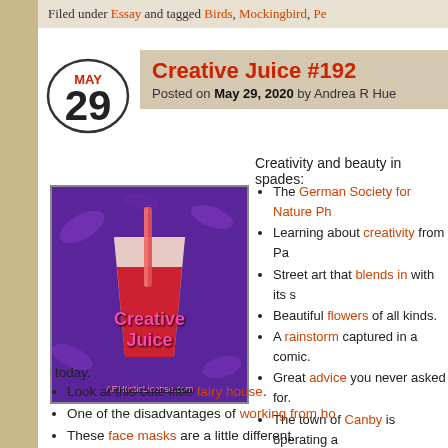Filed under Essay and tagged Birds, Mockingbird, Pe...
Creative Juice #192
Posted on May 29, 2020 by Andrea R Hue
[Figure (illustration): Creative Juice blog post thumbnail: a red drink in a glass with a straw on a purple floral background, with text 'Creative Juice' in pink and 'ARHtisticLicense.com' at the bottom]
Creativity and beauty in spades:
The German Society for Nature Ph...
Learning about creativity from Pa...
Street art that blends in with its s...
Beautiful flowers of all kinds.
A rainstorm captured in a comic.
Great advice you never asked for.
The town of Canby is operating a...
This art exhibit was two years ago... today.
Look at this cute little fairy house.
One of the disadvantages of working from ho...
These face masks are a little different.
Gorgeous quilts. I especially love the giraffe...